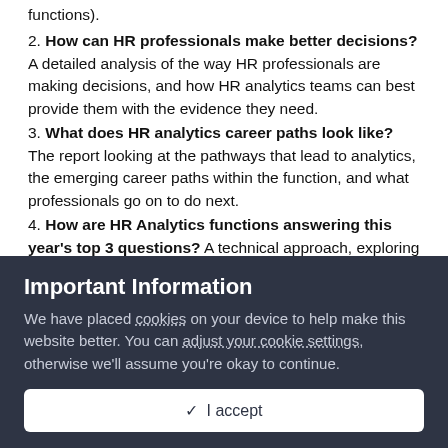functions).
2. How can HR professionals make better decisions? A detailed analysis of the way HR professionals are making decisions, and how HR analytics teams can best provide them with the evidence they need.
3. What does HR analytics career paths look like? The report looking at the pathways that lead to analytics, the emerging career paths within the function, and what professionals go on to do next.
4. How are HR Analytics functions answering this year's top 3 questions? A technical approach, exploring how different analytics teams are analysing the same problem in different ways.
Important Information
We have placed cookies on your device to help make this website better. You can adjust your cookie settings, otherwise we'll assume you're okay to continue.
✓  I accept